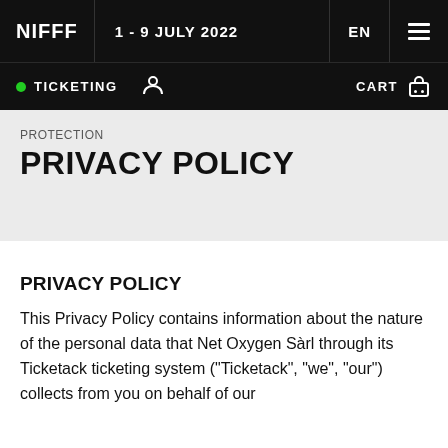NIFFF | 1 - 9 JULY 2022 | EN
TICKETING | CART
PROTECTION
PRIVACY POLICY
PRIVACY POLICY
This Privacy Policy contains information about the nature of the personal data that Net Oxygen Sàrl through its Ticketack ticketing system ("Ticketack", "we", "our") collects from you on behalf of our